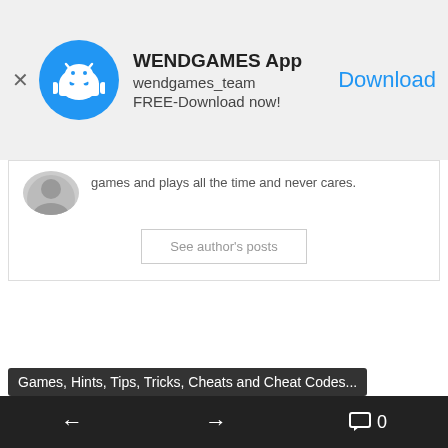[Figure (screenshot): App advertisement banner for WENDGAMES App with Android robot icon, showing app name, developer name, and Download button]
games and plays all the time and never cares.
See author's posts
Games, Hints, Tips, Tricks, Cheats and Cheat Codes...
Leave a Reply
Your email address will not be published. Required fields are marked *
Comment *
← → 💬 0